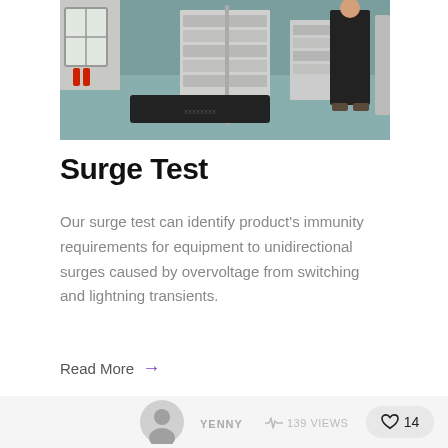[Figure (photo): A laboratory or facility room showing equipment racks on wheels, a flat black device on the floor (possibly test equipment), fire extinguishers on the wall, a window, and a person standing in dark clothing.]
Surge Test
Our surge test can identify product's immunity requirements for equipment to unidirectional surges caused by overvoltage from switching and lightning transients.
Read More →
YENNY   139 VIEWS   14